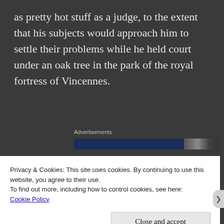as pretty hot stuff as a judge, to the extent that his subjects would approach him to settle their problems while he held court under an oak tree in the park of the royal fortress of Vincennes.
[Figure (other): Advertisements banner with blue bar and partially visible image]
Current common view is that the local judge....hereinafter referred to as Licenciado
Privacy & Cookies: This site uses cookies. By continuing to use this website, you agree to their use.
To find out more, including how to control cookies, see here:
Cookie Policy

Close and accept